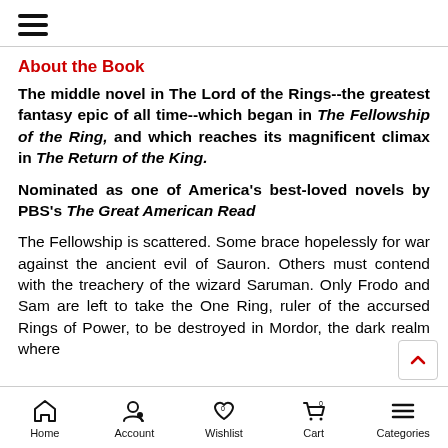☰ (hamburger menu)
About the Book
The middle novel in The Lord of the Rings--the greatest fantasy epic of all time--which began in The Fellowship of the Ring, and which reaches its magnificent climax in The Return of the King.
Nominated as one of America's best-loved novels by PBS's The Great American Read
The Fellowship is scattered. Some brace hopelessly for war against the ancient evil of Sauron. Others must contend with the treachery of the wizard Saruman. Only Frodo and Sam are left to take the One Ring, ruler of the accursed Rings of Power, to be destroyed in Mordor, the dark realm where
Home | Account | Wishlist | Cart | Categories